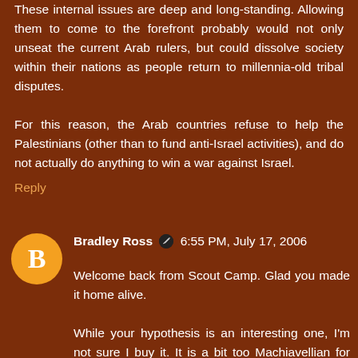These internal issues are deep and long-standing. Allowing them to come to the forefront probably would not only unseat the current Arab rulers, but could dissolve society within their nations as people return to millennia-old tribal disputes.
For this reason, the Arab countries refuse to help the Palestinians (other than to fund anti-Israel activities), and do not actually do anything to win a war against Israel.
Reply
Bradley Ross  6:55 PM, July 17, 2006
Welcome back from Scout Camp. Glad you made it home alive.
While your hypothesis is an interesting one, I'm not sure I buy it. It is a bit too Machiavellian for me. I suspect that Israel's Arab neighbors are acting more out of hatred than in cunning self-preservation. Their need for Israel to exist may be true, but I don't know that it is their primary motivation.